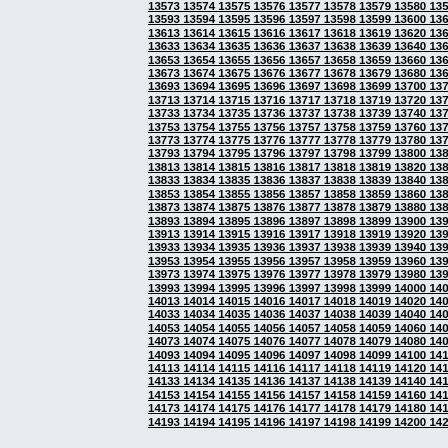Grid of sequential numbers from 13573 to 14201, arranged in rows of 9 numbers incrementing by 2, with a left sidebar of light blue/gray color.